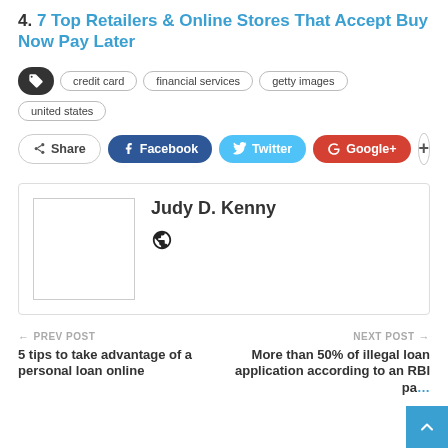4. 7 Top Retailers & Online Stores That Accept Buy Now Pay Later
credit card  financial services  getty images  united states
Share  Facebook  Twitter  Google+  +
Judy D. Kenny
PREV POST  5 tips to take advantage of a personal loan online
NEXT POST  More than 50% of illegal loan application according to an RBI pa